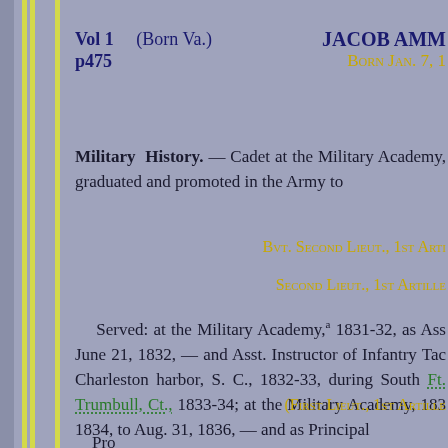Vol 1  (Born Va.)  JACOB AMM...
p475  Born Jan. 7, 1...
Military History. — Cadet at the Military Academy, graduated and promoted in the Army to
Bvt. Second Lieut., 1st Arti...
Second Lieut., 1st Artille...
Served: at the Military Academy, a 1831-32, as Ass... June 21, 1832, — and Asst. Instructor of Infantry Tac... Charleston harbor, S. C., 1832-33, during South Ft. Trumbull, Ct., 1833-34; at the Military Academy, 183... 1834, to Aug. 31, 1836, — and as Principal
(First Lieut., 1st Artille...